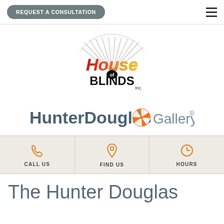REQUEST A CONSULTATION
[Figure (logo): House of Blinds Inc. logo with fan/sun rays graphic above stylized text]
[Figure (logo): HunterDouglas Gallery logo with orange pinwheel icon]
CALL US | FIND US | HOURS
The Hunter Douglas